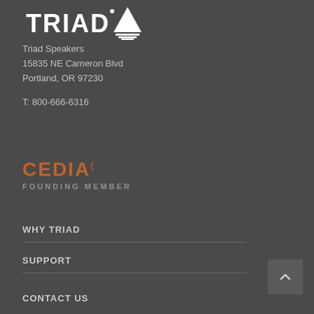[Figure (logo): TRIAD logo with white text and triangle icon]
Triad Speakers
15835 NE Cameron Blvd
Portland, OR 97230
T: 800-666-6316
[Figure (logo): CEDIA FOUNDING MEMBER logo in orange and grey]
WHY TRIAD
SUPPORT
CONTACT US